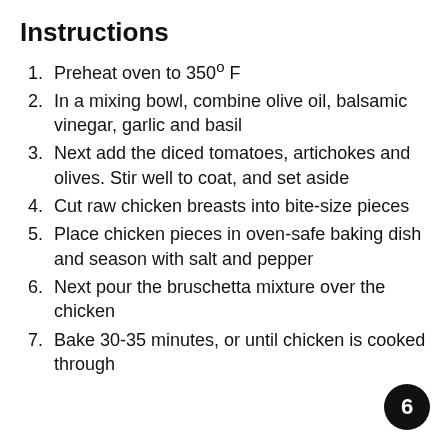Instructions
Preheat oven to 350° F
In a mixing bowl, combine olive oil, balsamic vinegar, garlic and basil
Next add the diced tomatoes, artichokes and olives. Stir well to coat, and set aside
Cut raw chicken breasts into bite-size pieces
Place chicken pieces in oven-safe baking dish and season with salt and pepper
Next pour the bruschetta mixture over the chicken
Bake 30-35 minutes, or until chicken is cooked through